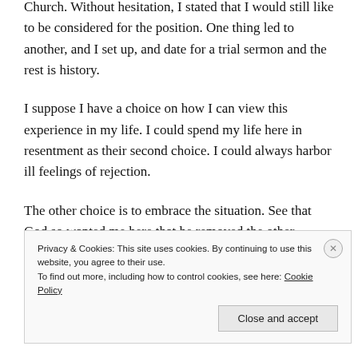Church. Without hesitation, I stated that I would still like to be considered for the position. One thing led to another, and I set up, and date for a trial sermon and the rest is history.
I suppose I have a choice on how I can view this experience in my life. I could spend my life here in resentment as their second choice. I could always harbor ill feelings of rejection.
The other choice is to embrace the situation. See that God so wanted me here that he removed the other
Privacy & Cookies: This site uses cookies. By continuing to use this website, you agree to their use.
To find out more, including how to control cookies, see here: Cookie Policy
Close and accept